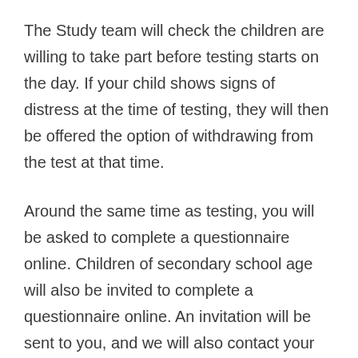The Study team will check the children are willing to take part before testing starts on the day. If your child shows signs of distress at the time of testing, they will then be offered the option of withdrawing from the test at that time.
Around the same time as testing, you will be asked to complete a questionnaire online. Children of secondary school age will also be invited to complete a questionnaire online. An invitation will be sent to you, and we will also contact your child directly by email/text if you provide their contact details and are happy for us to do so.